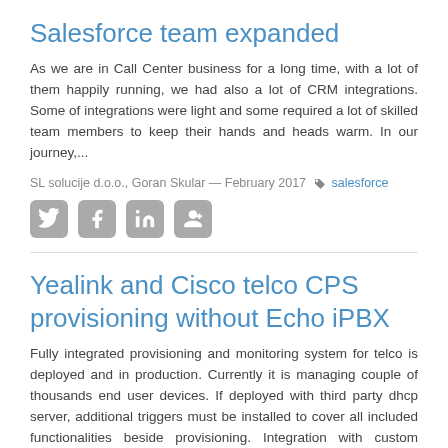Salesforce team expanded
As we are in Call Center business for a long time, with a lot of them happily running, we had also a lot of CRM integrations. Some of integrations were light and some required a lot of skilled team members to keep their hands and heads warm. In our journey,...
SL solucije d.o.o., Goran Skular — February 2017 🏷 salesforce
[Figure (infographic): Social media sharing icons: Twitter, Facebook, LinkedIn, Google+]
Yealink and Cisco telco CPS provisioning without Echo iPBX
Fully integrated provisioning and monitoring system for telco is deployed and in production. Currently it is managing couple of thousands end user devices. If deployed with third party dhcp server, additional triggers must be installed to cover all included functionalities beside provisioning. Integration with custom softswitch vendors and systems can...